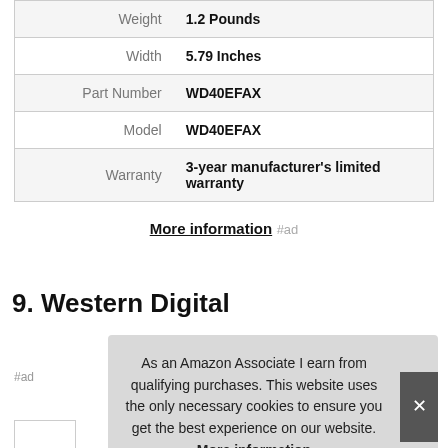|  |  |
| --- | --- |
| Weight | 1.2 Pounds |
| Width | 5.79 Inches |
| Part Number | WD40EFAX |
| Model | WD40EFAX |
| Warranty | 3-year manufacturer's limited warranty |
More information #ad
9. Western Digital
As an Amazon Associate I earn from qualifying purchases. This website uses the only necessary cookies to ensure you get the best experience on our website. More information